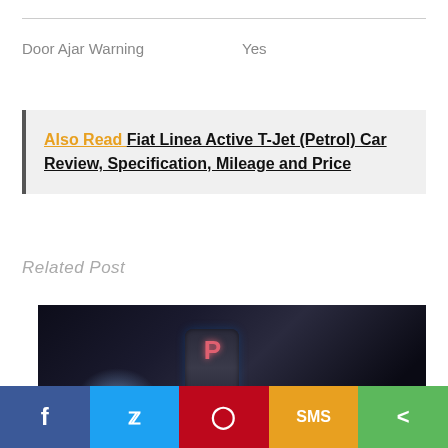| Door Ajar Warning | Yes |
Also Read  Fiat Linea Active T-Jet (Petrol) Car Review, Specification, Mileage and Price
Related Post
[Figure (photo): Close-up photo of a car gear shift selector with illuminated P (Park) button and other controls, dark background with blue accent lighting]